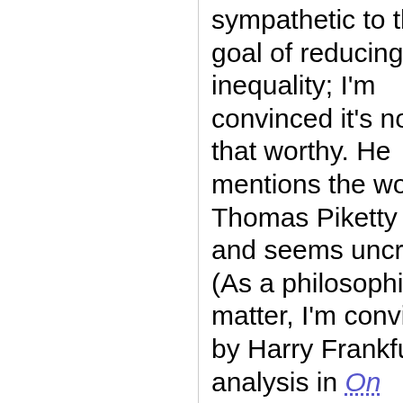sympathetic to the goal of reducing inequality; I'm convinced it's not that worthy. He mentions the work of Thomas Piketty a lot, and seems uncritical. (As a philosophical matter, I'm convinced by Harry Frankfurt's analysis in On Inequarlity.)